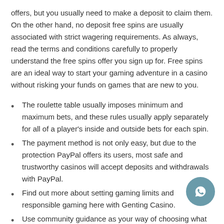offers, but you usually need to make a deposit to claim them. On the other hand, no deposit free spins are usually associated with strict wagering requirements. As always, read the terms and conditions carefully to properly understand the free spins offer you sign up for. Free spins are an ideal way to start your gaming adventure in a casino without risking your funds on games that are new to you.
The roulette table usually imposes minimum and maximum bets, and these rules usually apply separately for all of a player's inside and outside bets for each spin.
The payment method is not only easy, but due to the protection PayPal offers its users, most safe and trustworthy casinos will accept deposits and withdrawals with PayPal.
Find out more about setting gaming limits and responsible gaming here with Genting Casino.
Use community guidance as your way of choosing what casino to play next.